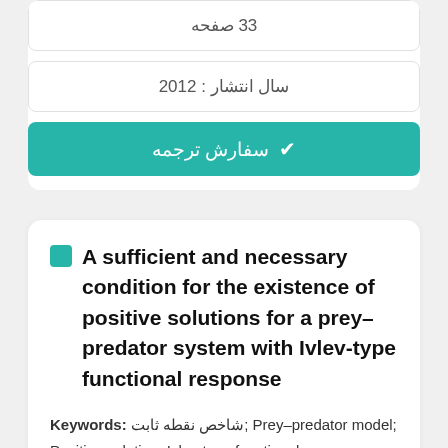33 صفحه
سال انتشار : 2012
✔ سفارش ترجمه
A sufficient and necessary condition for the existence of positive solutions for a prey–predator system with Ivlev-type functional response
Keywords: شاخص نقطه ثابت; Prey–predator model; Positive solution; Ivlev-type functional response; Fixed point index